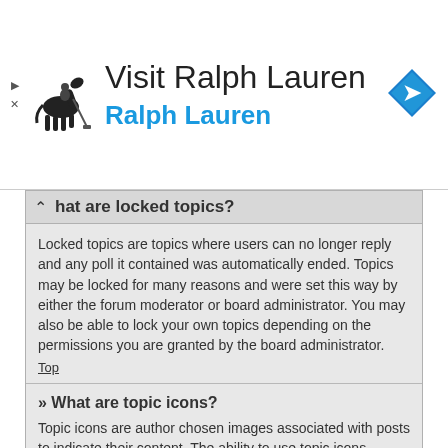[Figure (other): Advertisement banner for Ralph Lauren with polo horse logo and blue arrow navigation icon]
hat are locked topics?
Locked topics are topics where users can no longer reply and any poll it contained was automatically ended. Topics may be locked for many reasons and were set this way by either the forum moderator or board administrator. You may also be able to lock your own topics depending on the permissions you are granted by the board administrator.
Top
» What are topic icons?
Topic icons are author chosen images associated with posts to indicate their content. The ability to use topic icons depends on the permissions set by the board administrator.
Top
User Levels and Groups
» What are Administrators?
Administrators are members assigned with the highest level of